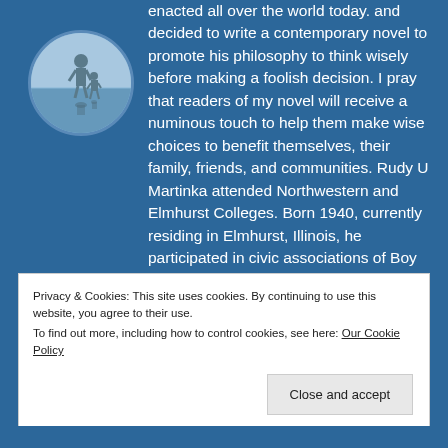[Figure (photo): Circular author photo showing a person (and possibly a child) standing on a beach or near water, with a reflective surface below.]
enacted all over the world today. and decided to write a contemporary novel to promote his philosophy to think wisely before making a foolish decision. I pray that readers of my novel will receive a numinous touch to help them make wise choices to benefit themselves, their family, friends, and communities. Rudy U Martinka attended Northwestern and Elmhurst Colleges. Born 1940, currently residing in Elmhurst, Illinois, he participated in civic associations of Boy Scouts, Elmhurst Safety Council
Privacy & Cookies: This site uses cookies. By continuing to use this website, you agree to their use.
To find out more, including how to control cookies, see here: Our Cookie Policy
Close and accept